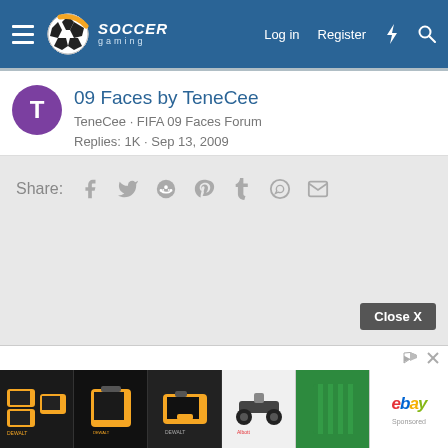Soccer Gaming — Log in  Register
09 Faces by TeneCee
TeneCee · FIFA 09 Faces Forum
Replies: 1K · Sep 13, 2009
Share:
[Figure (screenshot): Advertisement strip showing power tool batteries, a hoverboard kart, green fabric roll, and eBay branding with a Close X button above]
Close X